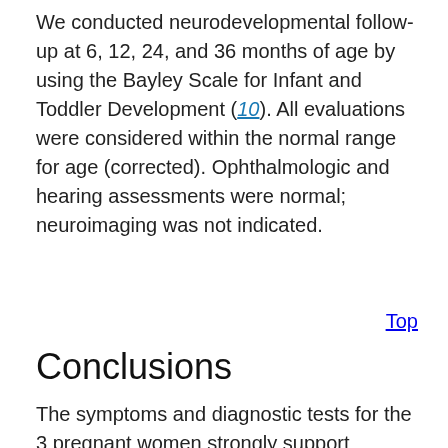We conducted neurodevelopmental follow-up at 6, 12, 24, and 36 months of age by using the Bayley Scale for Infant and Toddler Development (10). All evaluations were considered within the normal range for age (corrected). Ophthalmologic and hearing assessments were normal; neuroimaging was not indicated.
Top
Conclusions
The symptoms and diagnostic tests for the 3 pregnant women strongly support maternal infection 5 days before delivery. Vertical transmission is shown by suggestive early neonatal symptoms and a positive RT-PCR result for ZIKV for case-patient 1 and RT-PCR Zika virus–positive cord blood for the other 2